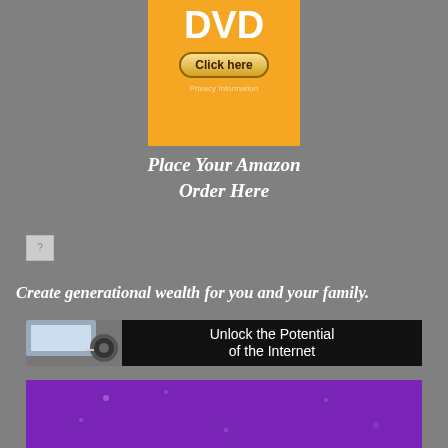[Figure (illustration): Orange Amazon Music DVD promotional banner with 'DVD' text in large white letters, a 'Click here' button, and 'Privacy Information' text]
Place Your Amazon
Order Here
[Figure (illustration): Small broken image icon placeholder]
Create generational wealth for you and your family.
[Figure (illustration): Banner with computer/CD image on left and text 'Unlock the Potential of the Internet' on black background]
[Figure (illustration): Purple gradient banner at the bottom of the page]